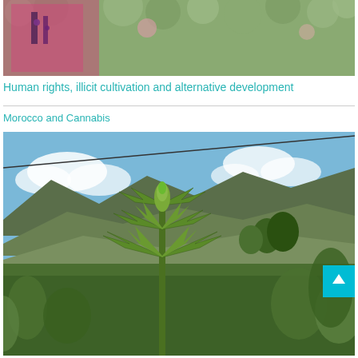[Figure (photo): Top portion of a photo showing a person in pink/magenta clothing among flowers or plants with patterned background]
Human rights, illicit cultivation and alternative development
Morocco and Cannabis
[Figure (photo): Cannabis plant in foreground with mountainous landscape in background under blue sky with clouds, green fields and terraced hillsides visible]